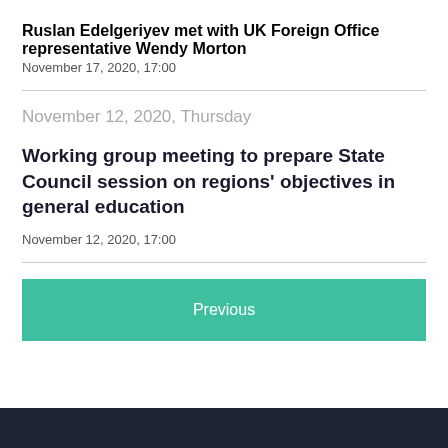Ruslan Edelgeriyev met with UK Foreign Office representative Wendy Morton
November 17, 2020, 17:00
November 12, 2020, Thursday
Working group meeting to prepare State Council session on regions' objectives in general education
November 12, 2020, 17:00
Previous